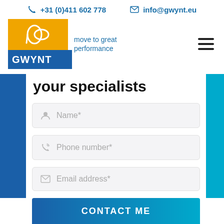+31 (0)411 602 778   info@gwynt.eu
[Figure (logo): GWYNT logo — orange top with bird/wind icon, blue bottom with GWYNT text, tagline: move to great performance]
your specialists
Name*
Phone number*
Email address*
CONTACT ME